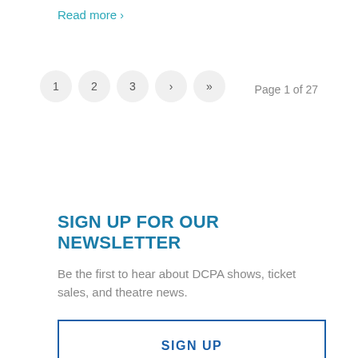Read more >
1  2  3  ›  »    Page 1 of 27
SIGN UP FOR OUR NEWSLETTER
Be the first to hear about DCPA shows, ticket sales, and theatre news.
SIGN UP